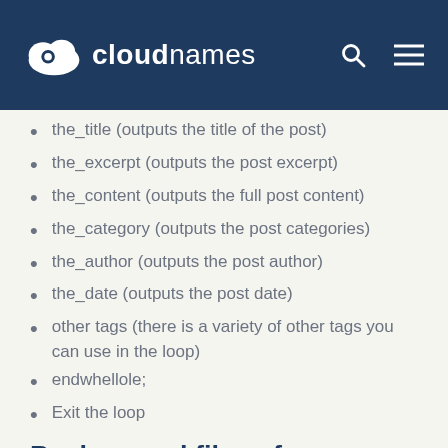cloudnames
the_title (outputs the title of the post)
the_excerpt (outputs the post excerpt)
the_content (outputs the full post content)
the_category (outputs the post categories)
the_author (outputs the post author)
the_date (outputs the post date)
other tags (there is a variety of other tags you can use in the loop)
endwhellole;
Exit the loop
Background files of a WordPress